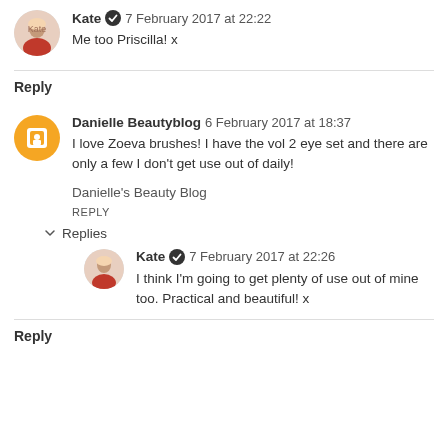Kate ✔ 7 February 2017 at 22:22
Me too Priscilla! x
Reply
Danielle Beautyblog 6 February 2017 at 18:37
I love Zoeva brushes! I have the vol 2 eye set and there are only a few I don't get use out of daily!
Danielle's Beauty Blog
REPLY
Replies
Kate ✔ 7 February 2017 at 22:26
I think I'm going to get plenty of use out of mine too. Practical and beautiful! x
Reply